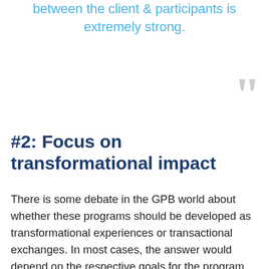between the client & participants is extremely strong.
#2: Focus on transformational impact
There is some debate in the GPB world about whether these programs should be developed as transformational experiences or transactional exchanges. In most cases, the answer would depend on the respective goals for the program. However, as we look to the future of pro bono, I believe that, in order to truly harness the power of pro bono, we need to think of it as a tool for